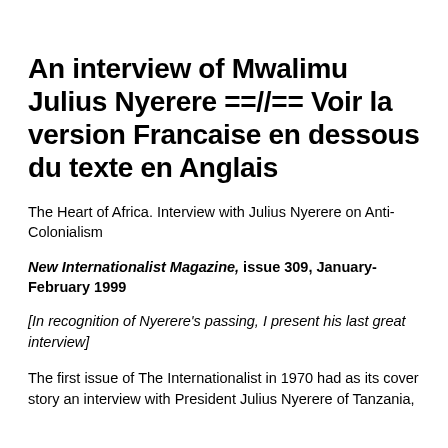An interview of Mwalimu Julius Nyerere ==//== Voir la version Francaise en dessous du texte en Anglais
The Heart of Africa. Interview with Julius Nyerere on Anti-Colonialism
New Internationalist Magazine, issue 309, January-February 1999
[In recognition of Nyerere's passing, I present his last great interview]
The first issue of The Internationalist in 1970 had as its cover story an interview with President Julius Nyerere of Tanzania,